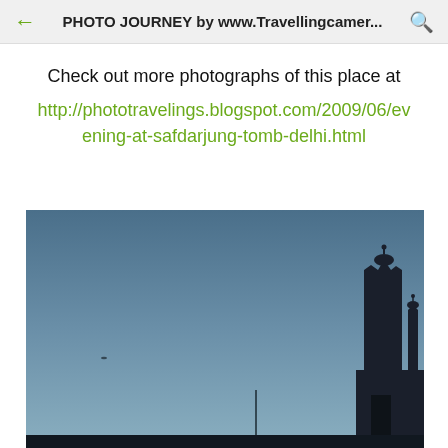PHOTO JOURNEY by www.Travellingcamer...
Check out more photographs of this place at
http://phototravelings.blogspot.com/2009/06/evening-at-safdarjung-tomb-delhi.html
[Figure (photo): Evening silhouette photograph at Safdarjung Tomb, Delhi. Dark blue twilight sky with the silhouette of a Mughal-style domed tomb structure visible on the right side. A small bird or airplane is visible as a tiny speck in the sky on the left side.]